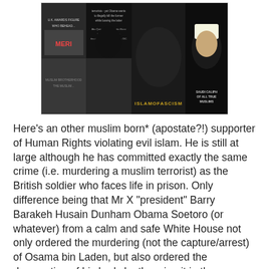[Figure (photo): A collage image containing multiple news photos and text overlays related to Islam, terrorism, and political figures. Text overlays include 'ISLAMOFASCISM' and 'SAUDI CALIPH OF ALL TRUE MUSLIMS'.]
Here's an other muslim born* (apostate?!) supporter of Human Rights violating evil islam. He is still at large although he has committed exactly the same crime (i.e. murdering a muslim terrorist) as the British soldier who faces life in prison. Only difference being that Mr X "president" Barry Barakeh Husain Dunham Obama Soetoro (or whatever) from a calm and safe White House not only ordered the murdering (not the capture/arrest) of Osama bin Laden, but also ordered the desecration of his body by throwing it in the sea, whereas the British soldier was under extreme psychological stress in intensive action after having fought against a muslim who wanted to murder him and who had already and just before not only murdered his pals but also hanged their mutilated body parts around the place! And the British soldier not even murdered the muslim terrorist. Murder needs intent and he thought the muslim terrorist was already dead when